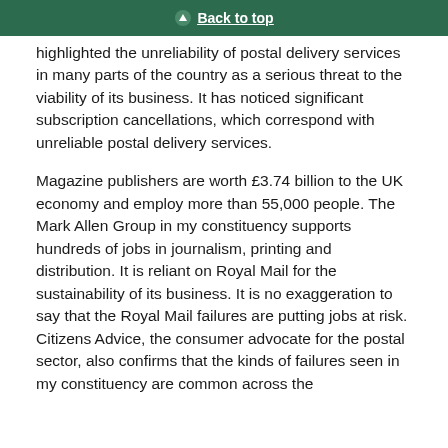Back to top
highlighted the unreliability of postal delivery services in many parts of the country as a serious threat to the viability of its business. It has noticed significant subscription cancellations, which correspond with unreliable postal delivery services.
Magazine publishers are worth £3.74 billion to the UK economy and employ more than 55,000 people. The Mark Allen Group in my constituency supports hundreds of jobs in journalism, printing and distribution. It is reliant on Royal Mail for the sustainability of its business. It is no exaggeration to say that the Royal Mail failures are putting jobs at risk. Citizens Advice, the consumer advocate for the postal sector, also confirms that the kinds of failures seen in my constituency are common across the